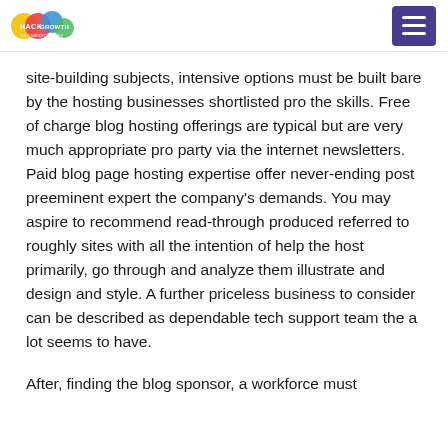HACK GROWTH logo and navigation menu
site-building subjects, intensive options must be built bare by the hosting businesses shortlisted pro the skills. Free of charge blog hosting offerings are typical but are very much appropriate pro party via the internet newsletters. Paid blog page hosting expertise offer never-ending post preeminent expert the company's demands. You may aspire to recommend read-through produced referred to roughly sites with all the intention of help the host primarily, go through and analyze them illustrate and design and style. A further priceless business to consider can be described as dependable tech support team the a lot seems to have.
After, finding the blog sponsor, a workforce must